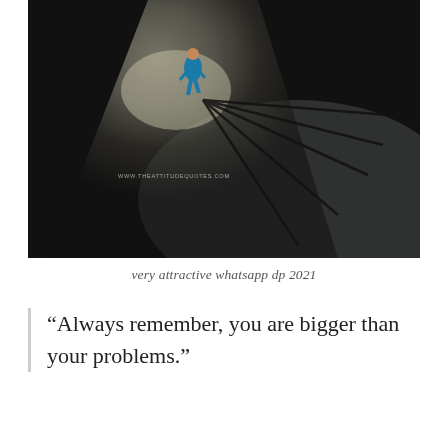[Figure (photo): Aerial/overhead view of a person in a blue jacket walking on a dark ground surface, illuminated by a spotlight from above-left, casting multiple long radiating shadow lines behind them. A watermark reads 'WWW.THEATTITUDEQUOTES.COM'.]
very attractive whatsapp dp 2021
“Always remember, you are bigger than your problems.”